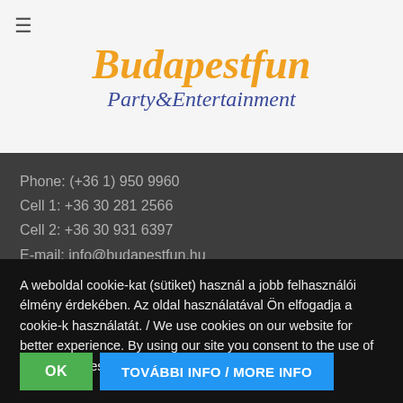Budapestfun Party&Entertainment
Phone: (+36 1) 950 9960
Cell 1: +36 30 281 2566
Cell 2: +36 30 931 6397
E-mail: info@budapestfun.hu
Opening Hours
A weboldal cookie-kat (sütiket) használ a jobb felhasználói élmény érdekében. Az oldal használatával Ön elfogadja a cookie-k használatát. / We use cookies on our website for better experience. By using our site you consent to the use of All the cookies.
OK
TOVÁBBI INFO / MORE INFO